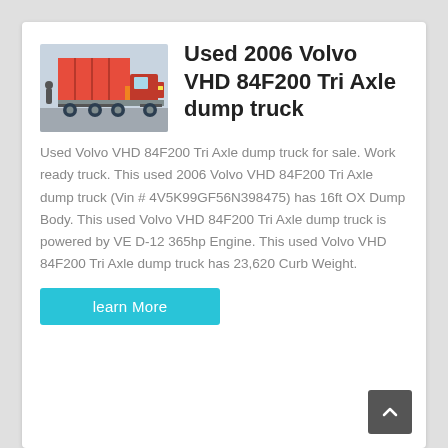[Figure (photo): Photo of a red Volvo VHD dump truck (tri axle) seen from the side/rear, parked on a street.]
Used 2006 Volvo VHD 84F200 Tri Axle dump truck
Used Volvo VHD 84F200 Tri Axle dump truck for sale. Work ready truck. This used 2006 Volvo VHD 84F200 Tri Axle dump truck (Vin # 4V5K99GF56N398475) has 16ft OX Dump Body. This used Volvo VHD 84F200 Tri Axle dump truck is powered by VE D-12 365hp Engine. This used Volvo VHD 84F200 Tri Axle dump truck has 23,620 Curb Weight.
learn More